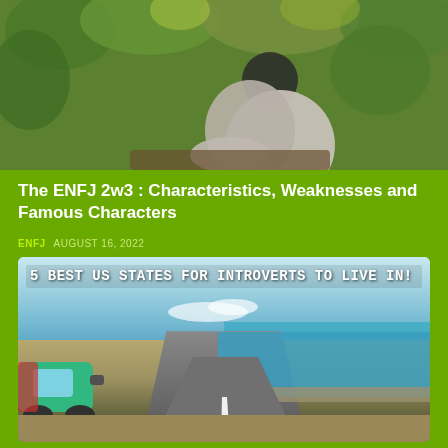[Figure (photo): A person in a grey top sitting among green foliage/trees, viewed from behind/side]
The ENFJ 2w3 : Characteristics, Weaknesses and Famous Characters
ENFJ   AUGUST 16, 2022
[Figure (photo): Road beside sea/ocean with a red/teal car visible, with overlay text: 5 BEST US STATES FOR INTROVERTS TO LIVE IN!]